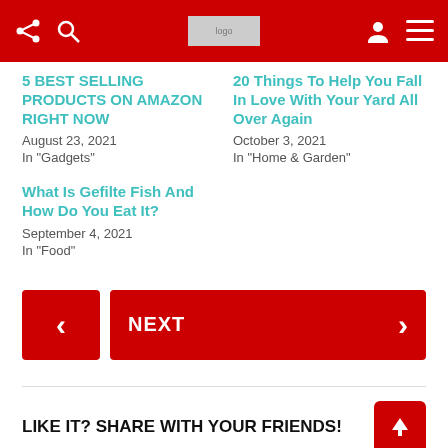Navigation bar with share, search, logo, user, and menu icons
5 BEST SELLING PRODUCTS ON AMAZON RIGHT NOW
August 23, 2021
In "Gadgets"
20 Things To Help You Fall In Love With Your Yard All Over Again
October 3, 2021
In "Home & Garden"
What Is Gefilte Fish And How Do You Eat It?
September 4, 2021
In "Food"
< NEXT >
LIKE IT? SHARE WITH YOUR FRIENDS!